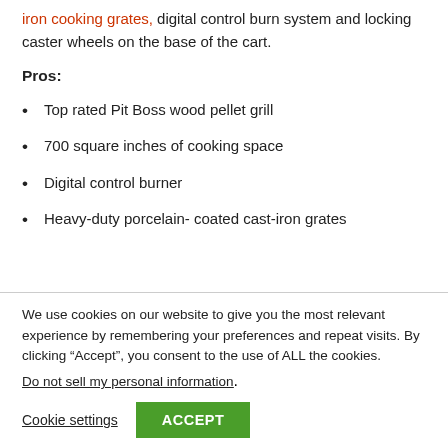iron cooking grates, digital control burn system and locking caster wheels on the base of the cart.
Pros:
Top rated Pit Boss wood pellet grill
700 square inches of cooking space
Digital control burner
Heavy-duty porcelain- coated cast-iron grates
We use cookies on our website to give you the most relevant experience by remembering your preferences and repeat visits. By clicking “Accept”, you consent to the use of ALL the cookies.
Do not sell my personal information.
Cookie settings  ACCEPT